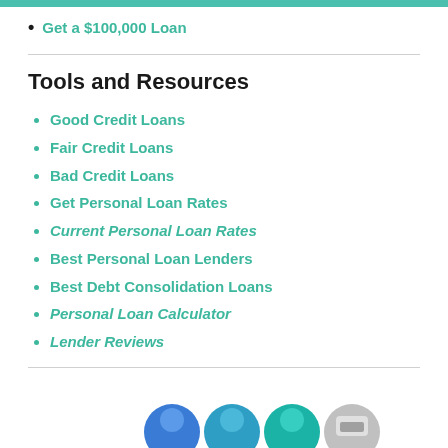Get a $100,000 Loan
Tools and Resources
Good Credit Loans
Fair Credit Loans
Bad Credit Loans
Get Personal Loan Rates
Current Personal Loan Rates
Best Personal Loan Lenders
Best Debt Consolidation Loans
Personal Loan Calculator
Lender Reviews
[Figure (illustration): Four circular avatar icons at the bottom of the page, three teal/blue and one gray]